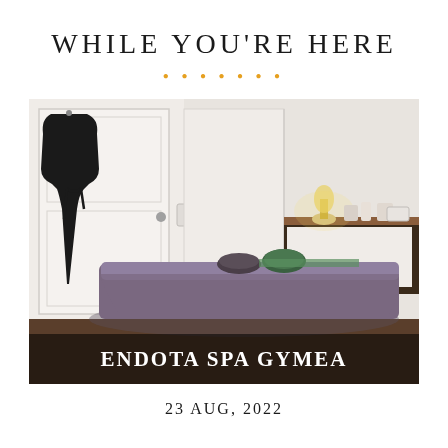WHILE YOU'RE HERE
[Figure (photo): Interior of Endota Spa Gymea treatment room with a massage table covered in a grey blanket, a rolled towel, a green spa product, white cabinetry and a dark countertop with lamp and toiletries, and a black robe hanging on the door. Text overlay reads ENDOTA SPA GYMEA.]
23 AUG, 2022